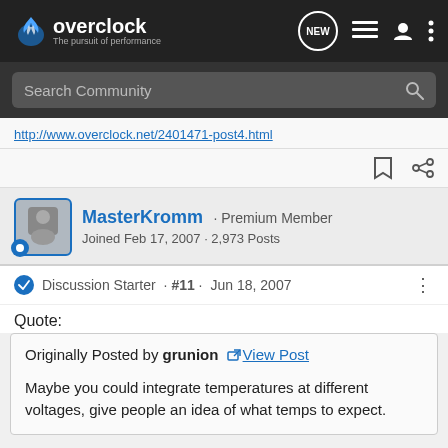overclock — The pursuit of performance
Search Community
http://www.overclock.net/2401471-post4.html
MasterKromm · Premium Member
Joined Feb 17, 2007 · 2,973 Posts
Discussion Starter · #11 · Jun 18, 2007
Quote:
Originally Posted by grunion View Post

Maybe you could integrate temperatures at different voltages, give people an idea of what temps to expect.